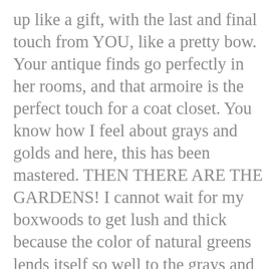up like a gift, with the last and final touch from YOU, like a pretty bow. Your antique finds go perfectly in her rooms, and that armoire is the perfect touch for a coat closet. You know how I feel about grays and golds and here, this has been mastered. THEN THERE ARE THE GARDENS! I cannot wait for my boxwoods to get lush and thick because the color of natural greens lends itself so well to the grays and patinas of statuaries and white flowers, that are in my plan this year so I can also enjoy a white, night garden!
Many hugs and thanks for transporting us into Lori's world, and YOURS! Off to see her